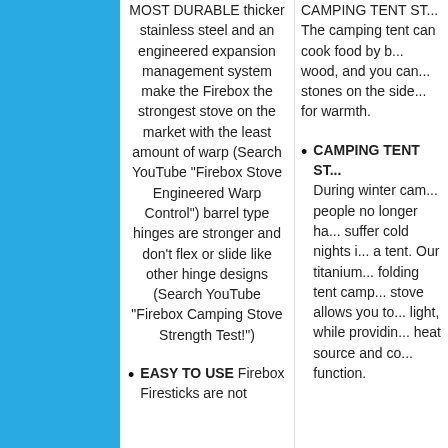MOST DURABLE thicker stainless steel and an engineered expansion management system make the Firebox the strongest stove on the market with the least amount of warp (Search YouTube "Firebox Stove Engineered Warp Control") barrel type hinges are stronger and don't flex or slide like other hinge designs (Search YouTube "Firebox Camping Stove Strength Test!")
EASY TO USE Firebox Firesticks are not...
CAMPING TENT ST... The camping tent can cook food by b... wood, and you can... stones on the side... for warmth.
CAMPING TENT ST... During winter cam... people no longer ha... suffer cold nights i... a tent. Our titanium... folding tent camp... stove allows you to... light, while providin... heat source and co... function.